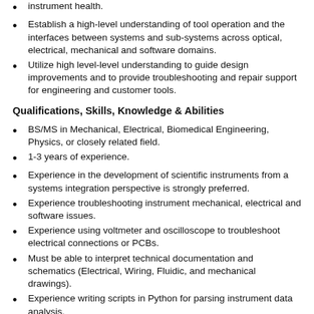instrument health.
Establish a high-level understanding of tool operation and the interfaces between systems and sub-systems across optical, electrical, mechanical and software domains.
Utilize high level-level understanding to guide design improvements and to provide troubleshooting and repair support for engineering and customer tools.
Qualifications, Skills, Knowledge & Abilities
BS/MS in Mechanical, Electrical, Biomedical Engineering, Physics, or closely related field.
1-3 years of experience.
Experience in the development of scientific instruments from a systems integration perspective is strongly preferred.
Experience troubleshooting instrument mechanical, electrical and software issues.
Experience using voltmeter and oscilloscope to troubleshoot electrical connections or PCBs.
Must be able to interpret technical documentation and schematics (Electrical, Wiring, Fluidic, and mechanical drawings).
Experience writing scripts in Python for parsing instrument data analysis.
Must be able to build prototypes from preliminary drawings and